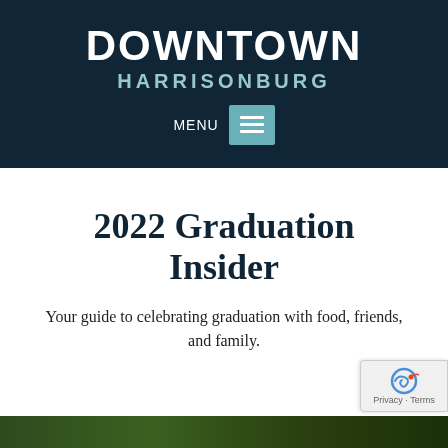DOWNTOWN HARRISONBURG
2022 Graduation Insider
Your guide to celebrating graduation with food, friends, and family.
[Figure (photo): Bottom strip showing a colorful outdoor scene, partially visible at the bottom of the page]